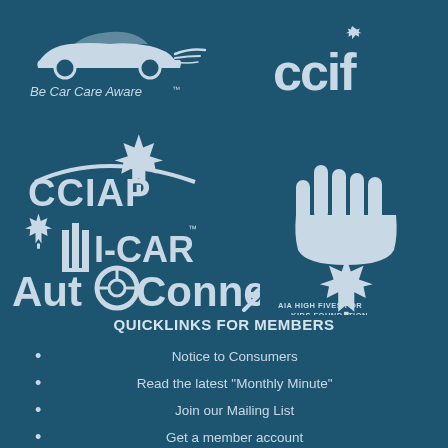[Figure (logo): Be Car Care Aware logo - car silhouette with text]
[Figure (logo): CCIF logo with maple leaf]
[Figure (logo): CCIAP logo with maple leaf and car arc]
[Figure (logo): I-CAR logo with maple leaf and columns]
[Figure (logo): AutoConnex logo with steering wheel O]
[Figure (logo): AIA High Fives for Kids Foundation - hand with maple leaf]
QUICKLINKS FOR MEMBERS
Notice to Consumers
Read the latest "Monthly Minute"
Join our Mailing List
Get a member account